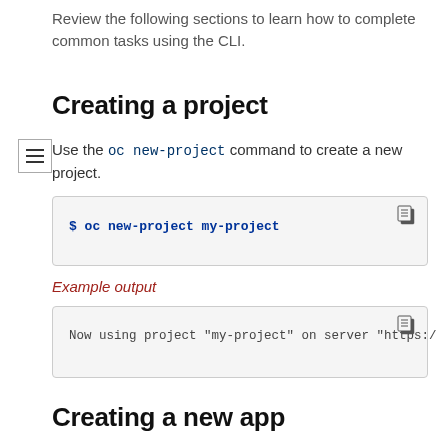Review the following sections to learn how to complete common tasks using the CLI.
Creating a project
Use the oc new-project command to create a new project.
$ oc new-project my-project
Example output
Now using project "my-project" on server "https:/...
Creating a new app